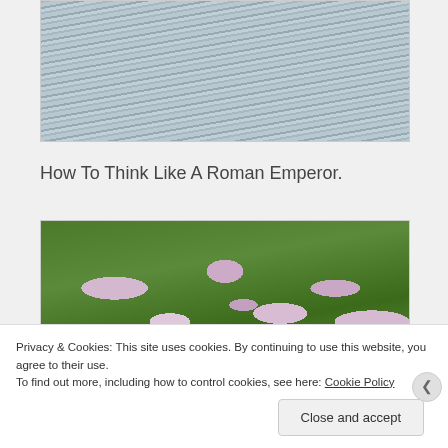[Figure (photo): Close-up photo of metallic corrugated or ridged surface with diagonal lines, grey-blue tones]
How To Think Like A Roman Emperor.
[Figure (photo): Photo of grass with pink/purple flower petals scattered on it]
Privacy & Cookies: This site uses cookies. By continuing to use this website, you agree to their use.
To find out more, including how to control cookies, see here: Cookie Policy
Close and accept